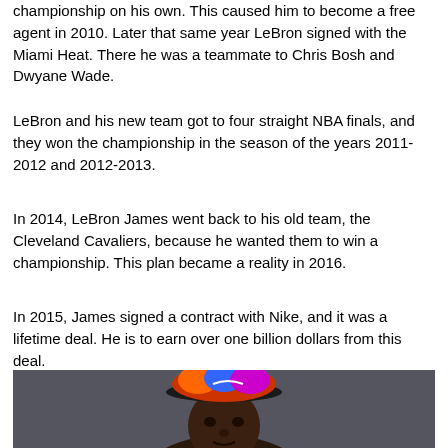championship on his own. This caused him to become a free agent in 2010. Later that same year LeBron signed with the Miami Heat. There he was a teammate to Chris Bosh and Dwyane Wade.
LeBron and his new team got to four straight NBA finals, and they won the championship in the season of the years 2011-2012 and 2012-2013.
In 2014, LeBron James went back to his old team, the Cleveland Cavaliers, because he wanted them to win a championship. This plan became a reality in 2016.
In 2015, James signed a contract with Nike, and it was a lifetime deal. He is to earn over one billion dollars from this deal.
[Figure (photo): Photo of LeBron James wearing a colorful backwards cap, looking forward against a dark background]